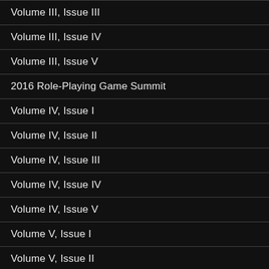Volume III, Issue III
Volume III, Issue IV
Volume III, Issue V
2016 Role-Playing Game Summit
Volume IV, Issue I
Volume IV, Issue II
Volume IV, Issue III
Volume IV, Issue IV
Volume IV, Issue V
Volume V, Issue I
Volume V, Issue II
Volume V, Issue III